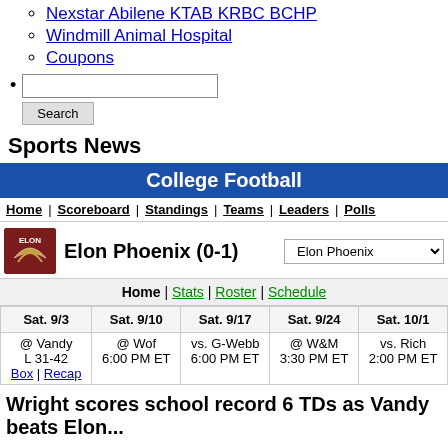Nexstar Abilene KTAB KRBC BCHP
Windmill Animal Hospital
Coupons
[search box + Search button]
Sports News
College Football
Home | Scoreboard | Standings | Teams | Leaders | Polls
Elon Phoenix (0-1)
Home | Stats | Roster | Schedule
| Sat. 9/3 | Sat. 9/10 | Sat. 9/17 | Sat. 9/24 | Sat. 10/1 |
| --- | --- | --- | --- | --- |
| @ Vandy
L 31-42
Box | Recap | @ Wof
6:00 PM ET | vs. G-Webb
6:00 PM ET | @ W&M
3:30 PM ET | vs. Rich
2:00 PM ET |
Wright scores school record 6 TDs as Vandy beats Elon...